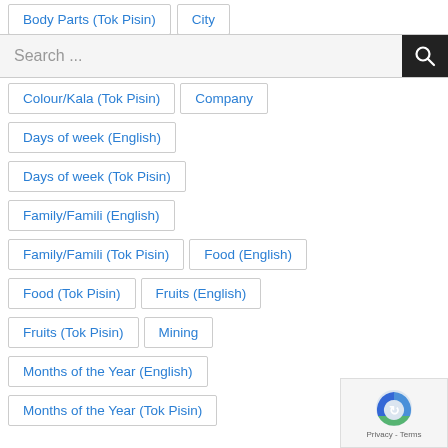Body Parts (Tok Pisin)
City
Search ...
Colour/Kala (Tok Pisin)
Company
Days of week (English)
Days of week (Tok Pisin)
Family/Famili (English)
Family/Famili (Tok Pisin)
Food (English)
Food (Tok Pisin)
Fruits (English)
Fruits (Tok Pisin)
Mining
Months of the Year (English)
Months of the Year (Tok Pisin)
[Figure (logo): Google reCAPTCHA logo with Privacy - Terms text]